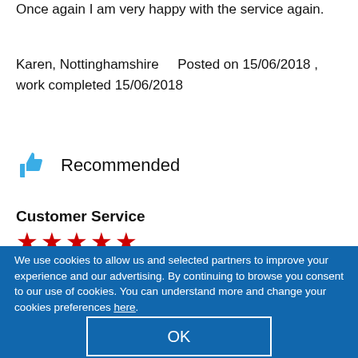Once again I am very happy with the service again.
Karen, Nottinghamshire    Posted on 15/06/2018 , work completed 15/06/2018
Recommended
Customer Service
[Figure (other): Five red stars rating]
We use cookies to allow us and selected partners to improve your experience and our advertising. By continuing to browse you consent to our use of cookies. You can understand more and change your cookies preferences here.
OK